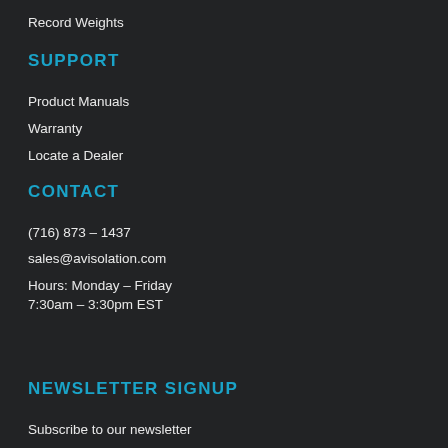Record Weights
SUPPORT
Product Manuals
Warranty
Locate a Dealer
CONTACT
(716) 873 – 1437
sales@avisolation.com
Hours: Monday – Friday
7:30am – 3:30pm EST
NEWSLETTER SIGNUP
Subscribe to our newsletter